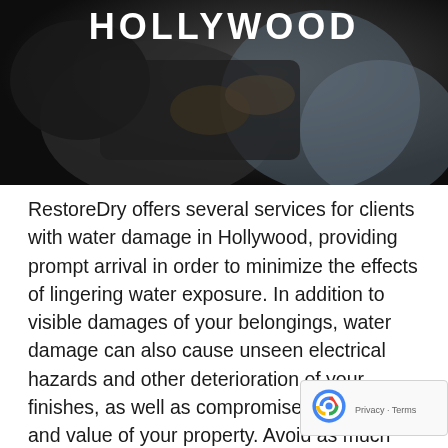[Figure (photo): Dark hero image showing hands working, with 'HOLLYWOOD' text overlay at the top in bold white uppercase letters]
RestoreDry offers several services for clients with water damage in Hollywood, providing prompt arrival in order to minimize the effects of lingering water exposure. In addition to visible damages of your belongings, water damage can also cause unseen electrical hazards and other deterioration of your finishes, as well as compromise the structure and value of your property. Avoid as much permanent damage as possible by calling Restor as soon as you discover water damage.